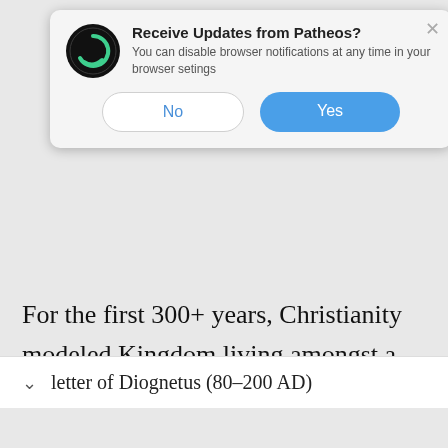[Figure (screenshot): Browser notification popup from Patheos asking 'Receive Updates from Patheos?' with 'No' and 'Yes' buttons, and Patheos circular logo]
For the first 300+ years, Christianity modeled Kingdom living amongst a culture that wants to wipe them out. Somehow this was to the church's advantage. The difference between the kingdom of Rome and Christ's Kingdom was so dramatically evident that people were drawn to it.
letter of Diognetus (80–200 AD)